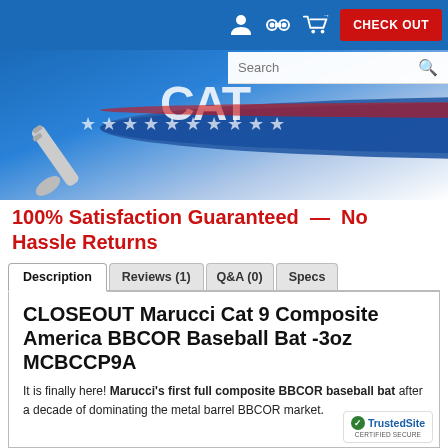CHECK OUT | Search
[Figure (photo): Blue and red Marucci Cat 9 Composite America baseball bat with USA stars design, shown diagonally across the image from grip to barrel]
100% Satisfaction Guaranteed — No Hassle Returns
Description | Reviews (1) | Q&A (0) | Specs
CLOSEOUT Marucci Cat 9 Composite America BBCOR Baseball Bat -3oz MCBCCP9A
It is finally here! Marucci's first full composite BBCOR baseball bat after a decade of dominating the metal barrel BBCOR market.